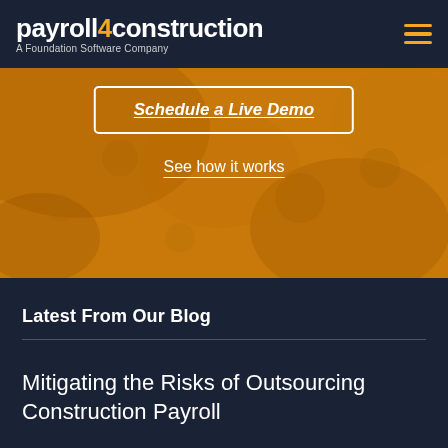payroll4construction — A Foundation Software Company
[Figure (screenshot): Orange textured background section with a 'Schedule a Live Demo' button and 'See how it works' link]
Schedule a Live Demo
See how it works
Latest From Our Blog
Mitigating the Risks of Outsourcing Construction Payroll